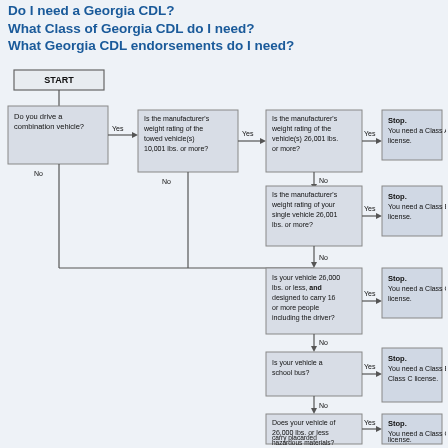Do I need a Georgia CDL?
What Class of Georgia CDL do I need?
What Georgia CDL endorsements do I need?
[Figure (flowchart): A flowchart for determining Georgia CDL requirements. Starts with 'START', then 'Do you drive a combination vehicle?' branching to questions about manufacturer weight ratings, single vehicle weight, passengers, school bus, and hazardous materials, with Stop results indicating Class A, B, C, or B/C licenses.]